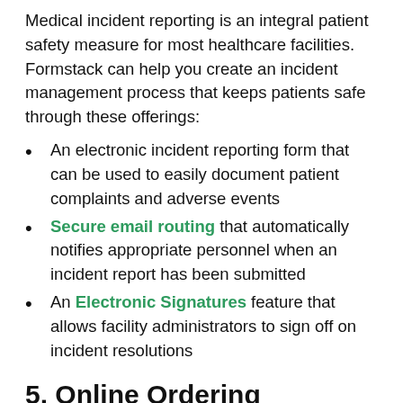Medical incident reporting is an integral patient safety measure for most healthcare facilities. Formstack can help you create an incident management process that keeps patients safe through these offerings:
An electronic incident reporting form that can be used to easily document patient complaints and adverse events
Secure email routing that automatically notifies appropriate personnel when an incident report has been submitted
An Electronic Signatures feature that allows facility administrators to sign off on incident resolutions
5. Online Ordering